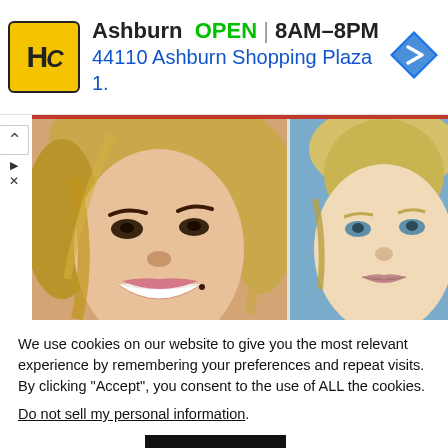[Figure (screenshot): Advertisement banner for Hobby City Ashburn store showing store logo (HC in yellow square), text 'Ashburn OPEN 8AM-8PM 44110 Ashburn Shopping Plaza 1.' with a blue navigation arrow icon]
[Figure (photo): Two side-by-side celebrity headshot photos: left shows a smiling woman with blonde highlighted hair and glamorous makeup; right shows a blonde woman with hair pulled back against a blue background]
We use cookies on our website to give you the most relevant experience by remembering your preferences and repeat visits. By clicking “Accept”, you consent to the use of ALL the cookies.
Do not sell my personal information.
Cookie settings
ACCEPT